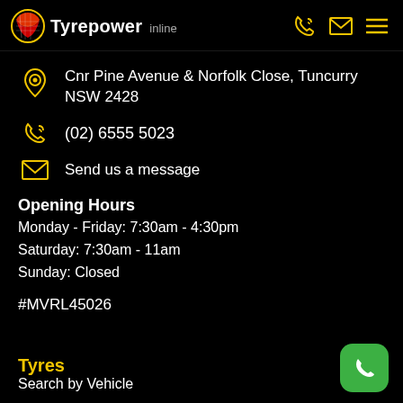Tyrepower
Cnr Pine Avenue & Norfolk Close, Tuncurry NSW 2428
(02) 6555 5023
Send us a message
Opening Hours
Monday - Friday: 7:30am - 4:30pm
Saturday: 7:30am - 11am
Sunday: Closed
#MVRL45026
Tyres
Search by Vehicle